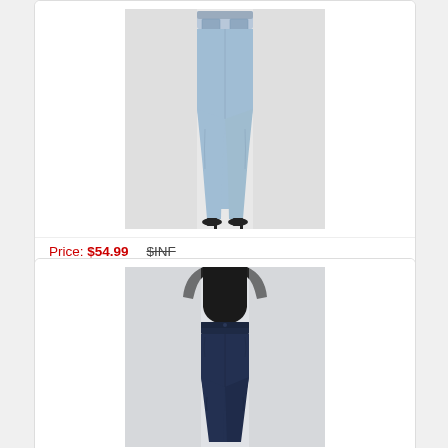[Figure (photo): Back view of a person wearing Levi's 501 Skinny Jeans in light blue denim, paired with black heels, against a white background.]
Price: $54.99   $INF
LEVIS | 501 Skinny Jean - Small Blessings –
[Figure (photo): Front view of a person wearing dark navy blue high-waisted skinny jeans with a black top, against a light background.]